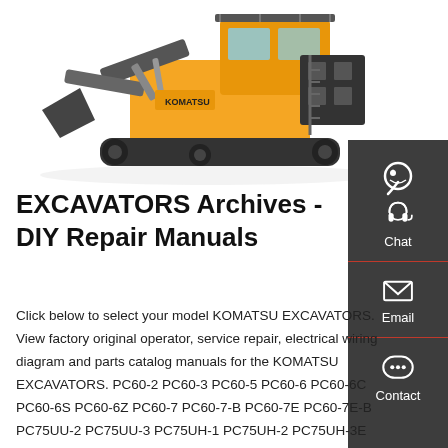[Figure (photo): Large yellow Komatsu excavator/shovel on tracks, shown from the front-left angle with a large bucket attachment, photographed on white background.]
[Figure (infographic): Dark grey sidebar with three contact options: Chat (headset icon), Email (envelope icon), Contact (speech bubble icon), each separated by a red horizontal line.]
EXCAVATORS Archives - DIY Repair Manuals
Click below to select your model KOMATSU EXCAVATORS. View factory original operator, service repair, electrical wiring diagram and parts catalog manuals for the KOMATSU EXCAVATORS. PC60-2 PC60-3 PC60-5 PC60-6 PC60-6C PC60-6S PC60-6Z PC60-7 PC60-7-B PC60-7E PC60-7E-B PC75UU-2 PC75UU-3 PC75UH-1 PC75UH-2 PC75UH-3E